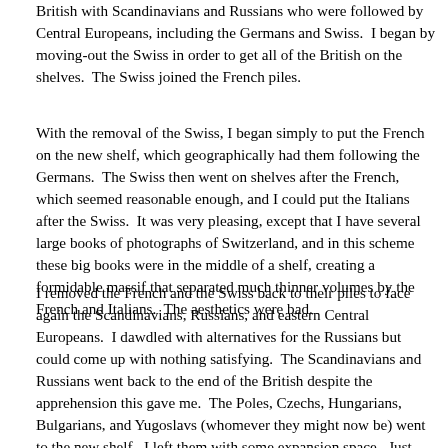British with Scandinavians and Russians who were followed by Central Europeans, including the Germans and Swiss.  I began by moving-out the Swiss in order to get all of the British on the shelves.  The Swiss joined the French piles.
With the removal of the Swiss, I began simply to put the French on the new shelf, which geographically had them following the Germans.  The Swiss then went on shelves after the French, which seemed reasonable enough, and I could put the Italians after the Swiss.  It was very pleasing, except that I have several large books of photographs of Switzerland, and in this scheme these big books were in the middle of a shelf, creating a formidable massif that separated much thinner volumes by the French and Italians.  The aesthetics were bad.
I removed the French and the Swiss back to their piles to face again the Scandinavians, Russians, and eastern Central Europeans.  I dawdled with alternatives for the Russians but could come up with nothing satisfying.  The Scandinavians and Russians went back to the end of the British despite the apprehension this gave me.  The Poles, Czechs, Hungarians, Bulgarians, and Yugoslavs (whomever they might now be) went to the new shelf.  I left them with some expansion space.  Just below, I brought in the Austrians, Germans, and Swiss.  The big Swiss books again sat near the middle of a shelf, but I was growing tired and decided that they didn't look as overwhelming